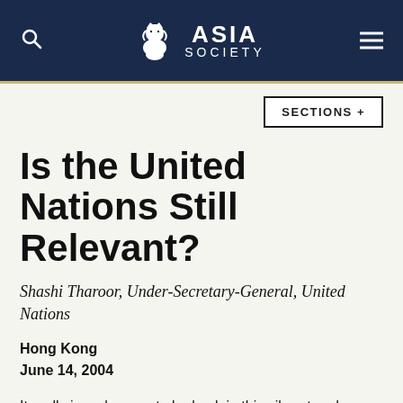ASIA SOCIETY
SECTIONS +
Is the United Nations Still Relevant?
Shashi Tharoor, Under-Secretary-General, United Nations
Hong Kong
June 14, 2004
It really is a pleasure to be back in this vibrant and dynamic city. For me, it is a gap of 23 years since I was last here and I